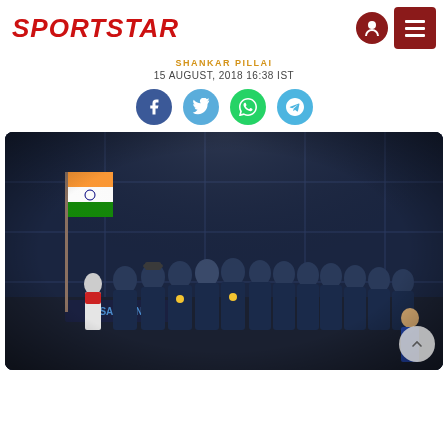SPORTSTAR
SHANKAR PILLAI
15 AUGUST, 2018 16:38 IST
[Figure (illustration): Social media share buttons: Facebook (blue circle), Twitter (light blue circle), WhatsApp (green circle), Telegram (blue circle)]
[Figure (photo): A group of Indian athletes in navy blue tracksuits standing on a podium or stage holding the Indian tricolor flag at night, with a Samsung banner visible in the background. An official in a blue suit is visible at the bottom right.]